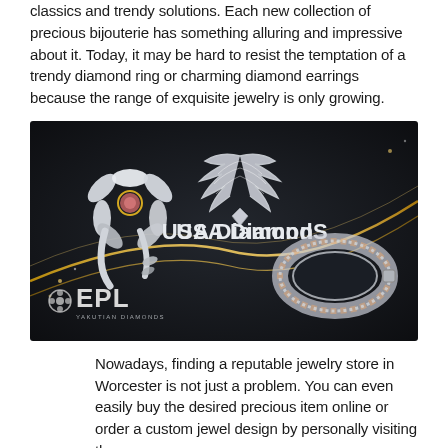classics and trendy solutions. Each new collection of precious bijouterie has something alluring and impressive about it. Today, it may be hard to resist the temptation of a trendy diamond ring or charming diamond earrings because the range of exquisite jewelry is only growing.
[Figure (photo): Dark background jewelry advertisement image showing a decorative flower ring on the left, angel wings logo and USA DiamondS brand text in the center, a bracelet on the right, and EPL Yakutian Diamonds logo at the bottom left.]
Nowadays, finding a reputable jewelry store in Worcester is not just a problem. You can even easily buy the desired precious item online or order a custom jewel design by personally visiting the